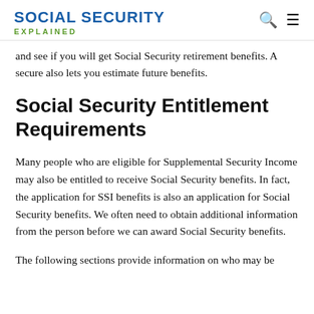SOCIAL SECURITY EXPLAINED
and see if you will get Social Security retirement benefits. A secure also lets you estimate future benefits.
Social Security Entitlement Requirements
Many people who are eligible for Supplemental Security Income may also be entitled to receive Social Security benefits. In fact, the application for SSI benefits is also an application for Social Security benefits. We often need to obtain additional information from the person before we can award Social Security benefits.
The following sections provide information on who may be